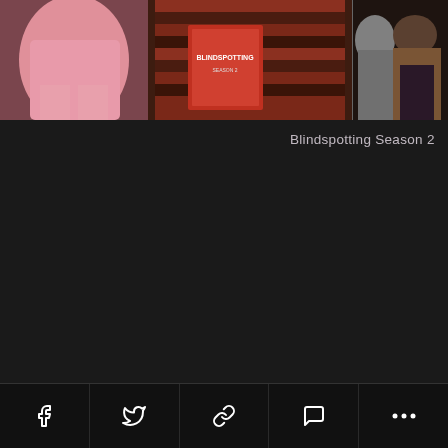[Figure (photo): A horizontal photo strip showing people. Left: person in pink top. Center: person in red/brown striped hoodie holding a book/sign reading 'Blindspotting'. Right: two people in dark clothing and brown coat. Dark background/divider visible.]
Blindspotting Season 2
Social sharing toolbar with icons: Facebook, Twitter, Link/chain, Comment/speech bubble, More (ellipsis)